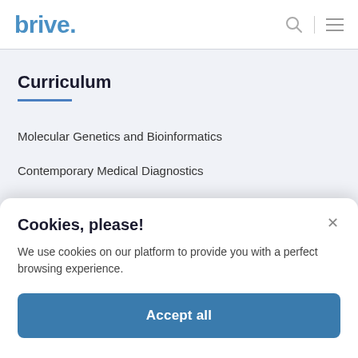brive.
Curriculum
Molecular Genetics and Bioinformatics
Contemporary Medical Diagnostics
Research Methods and Preparation
Cookies, please!
We use cookies on our platform to provide you with a perfect browsing experience.
Accept all